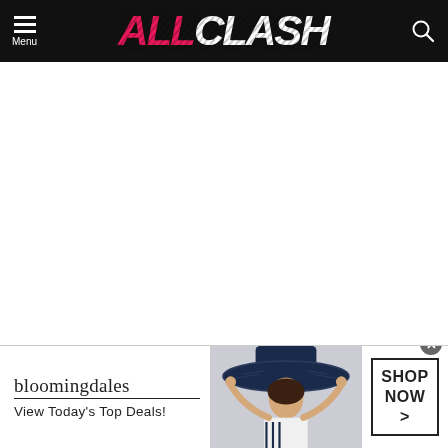ALLCLASH
Advertisement
[Figure (screenshot): Bloomingdales advertisement banner with woman in wide-brimmed hat, text 'bloomingdales View Today's Top Deals!' and 'SHOP NOW >' button]